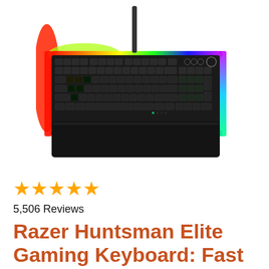[Figure (photo): Razer Huntsman Elite gaming keyboard with RGB rainbow lighting around the edges and a wrist rest attached, shown from a top-down angle with a USB cable at the top]
★★★★★
5,506 Reviews
Razer Huntsman Elite Gaming Keyboard: Fast